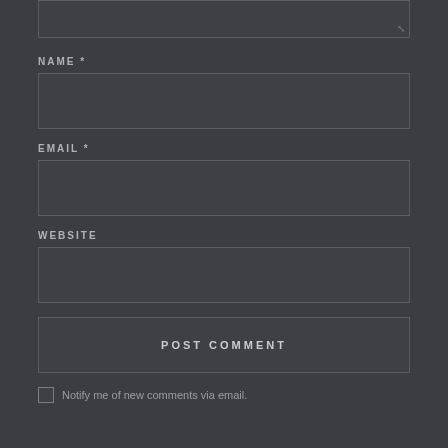[Figure (screenshot): Top portion of a comment form textarea (cropped, showing only the bottom portion with resize handle)]
NAME *
[Figure (screenshot): Name input field (empty text input box)]
EMAIL *
[Figure (screenshot): Email input field (empty text input box)]
WEBSITE
[Figure (screenshot): Website input field (empty text input box)]
POST COMMENT
Notify me of new comments via email.